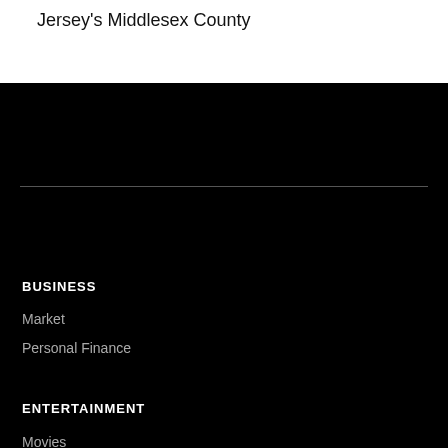Jersey's Middlesex County
BUSINESS
Market
Personal Finance
ENTERTAINMENT
Movies
Music
TV